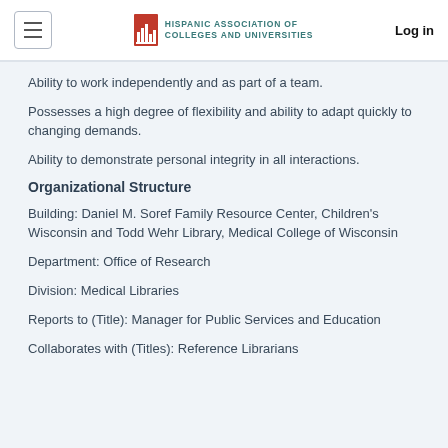HISPANIC ASSOCIATION OF COLLEGES AND UNIVERSITIES | Log in
Ability to work independently and as part of a team.
Possesses a high degree of flexibility and ability to adapt quickly to changing demands.
Ability to demonstrate personal integrity in all interactions.
Organizational Structure
Building: Daniel M. Soref Family Resource Center, Children's Wisconsin and Todd Wehr Library, Medical College of Wisconsin
Department: Office of Research
Division: Medical Libraries
Reports to (Title): Manager for Public Services and Education
Collaborates with (Titles): Reference Librarians